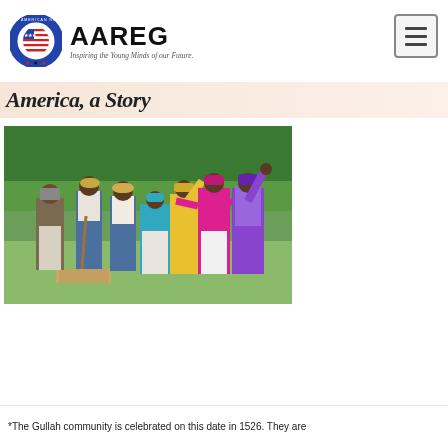AAREG — Inspiring the Young Minds of our Future.
America, a Story
[Figure (photo): Group of people in colorful traditional Gullah attire standing and gesturing outdoors on green grass with trees in the background. A woman in gray and white stands on the left, two men in overalls and hats in the center-left, and women in bright teal, yellow, magenta/pink, and purple clothing on the right, some with arms raised.]
*The Gullah community is celebrated on this date in 1526. They are